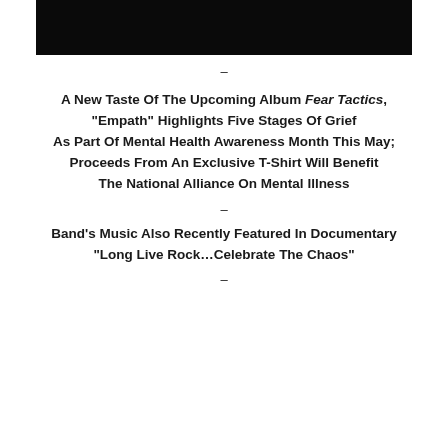[Figure (photo): Dark/black photograph at top of page]
–
A New Taste Of The Upcoming Album Fear Tactics, "Empath" Highlights Five Stages Of Grief As Part Of Mental Health Awareness Month This May; Proceeds From An Exclusive T-Shirt Will Benefit The National Alliance On Mental Illness
–
Band's Music Also Recently Featured In Documentary "Long Live Rock…Celebrate The Chaos"
–